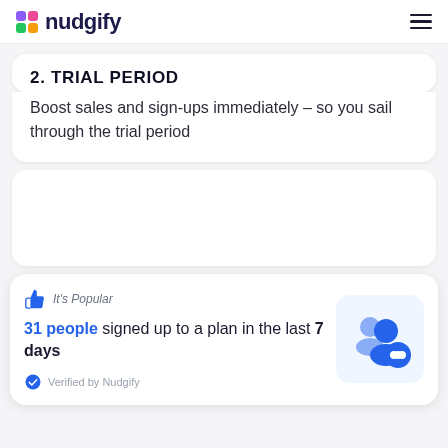nudgify
2. TRIAL PERIOD
Boost sales and sign-ups immediately – so you sail through the trial period
[Figure (screenshot): Empty white card area above notification]
It's Popular
31 people signed up to a plan in the last 7 days
Verified by Nudgify